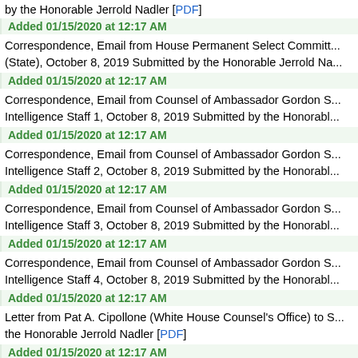by the Honorable Jerrold Nadler [PDF]
Added 01/15/2020 at 12:17 AM
Correspondence, Email from House Permanent Select Committ... (State), October 8, 2019 Submitted by the Honorable Jerrold Na...
Added 01/15/2020 at 12:17 AM
Correspondence, Email from Counsel of Ambassador Gordon S... Intelligence Staff 1, October 8, 2019 Submitted by the Honorabl...
Added 01/15/2020 at 12:17 AM
Correspondence, Email from Counsel of Ambassador Gordon S... Intelligence Staff 2, October 8, 2019 Submitted by the Honorabl...
Added 01/15/2020 at 12:17 AM
Correspondence, Email from Counsel of Ambassador Gordon S... Intelligence Staff 3, October 8, 2019 Submitted by the Honorabl...
Added 01/15/2020 at 12:17 AM
Correspondence, Email from Counsel of Ambassador Gordon S... Intelligence Staff 4, October 8, 2019 Submitted by the Honorabl...
Added 01/15/2020 at 12:17 AM
Letter from Pat A. Cipollone (White House Counsel's Office) to S... the Honorable Jerrold Nadler [PDF]
Added 01/15/2020 at 12:17 AM
Letter From Chairman Eliot L. Engel (HFAC), Chairman Adam B... to Ambassador Gordon Sondland, October 8, 2019 Submitted...